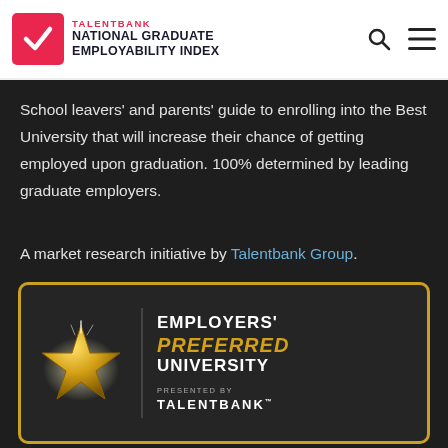TALENTBANK NATIONAL GRADUATE EMPLOYABILITY INDEX
School leavers' and parents' guide to enrolling into the Best University that will increase their chance of getting employed upon graduation. 100% determined by leading graduate employers.
A market research initiative by Talentbank Group.
[Figure (logo): Employers' Preferred University badge presented by Talentbank, with a gold star and gold border on dark background]